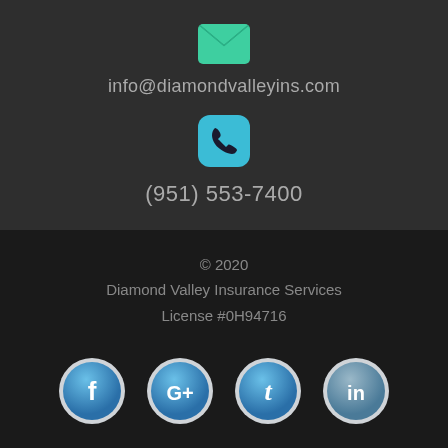[Figure (illustration): Green envelope icon representing email contact]
info@diamondvalleyins.com
[Figure (illustration): Blue rounded square phone icon representing phone contact]
(951) 553-7400
© 2020
Diamond Valley Insurance Services
License #0H94716
[Figure (illustration): Social media icons: Facebook, Google+, Twitter, LinkedIn as blue glossy circle buttons]